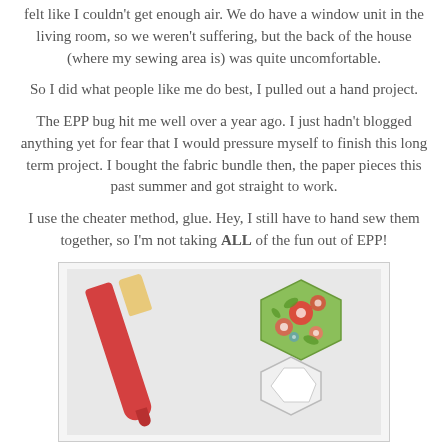felt like I couldn't get enough air. We do have a window unit in the living room, so we weren't suffering, but the back of the house (where my sewing area is) was quite uncomfortable.
So I did what people like me do best, I pulled out a hand project.
The EPP bug hit me well over a year ago. I just hadn't blogged anything yet for fear that I would pressure myself to finish this long term project. I bought the fabric bundle then, the paper pieces this past summer and got straight to work.
I use the cheater method, glue. Hey, I still have to hand sew them together, so I'm not taking ALL of the fun out of EPP!
[Figure (photo): A glue pen (with red body and cream/gold cap labeled FuseBetter) lying diagonally next to a floral hexagon fabric piece in green with red and white flowers, and white paper hexagon pieces below it, all on a light grey background.]